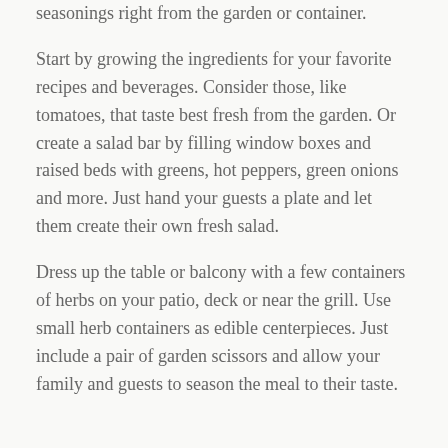seasonings right from the garden or container.
Start by growing the ingredients for your favorite recipes and beverages. Consider those, like tomatoes, that taste best fresh from the garden. Or create a salad bar by filling window boxes and raised beds with greens, hot peppers, green onions and more. Just hand your guests a plate and let them create their own fresh salad.
Dress up the table or balcony with a few containers of herbs on your patio, deck or near the grill. Use small herb containers as edible centerpieces. Just include a pair of garden scissors and allow your family and guests to season the meal to their taste.